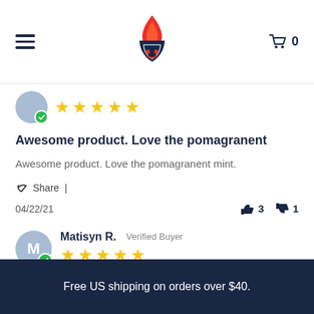Navigation header with hamburger menu, brand logo, and cart (0)
[Figure (illustration): Flame/pomegranate brand logo in red and dark navy]
★★★★★ (5 stars) — review with verified purchase badge
Awesome product. Love the pomagranent
Awesome product. Love the pomagranent mint.
Share |
04/22/21   👍 3   👎 1
Matisyn R.   Verified Buyer
★★★★★ (5 stars)
Free US shipping on orders over $40.